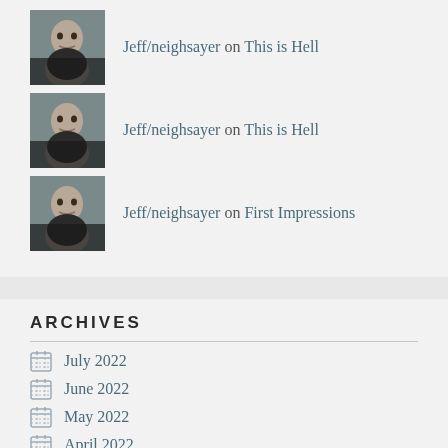Jeff/neighsayer on This is Hell
Jeff/neighsayer on This is Hell
Jeff/neighsayer on First Impressions
ARCHIVES
July 2022
June 2022
May 2022
April 2022
March 2022